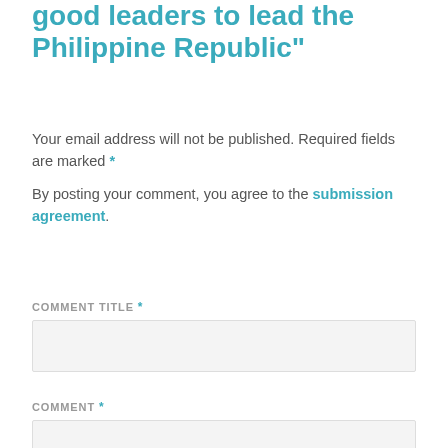good leaders to lead the Philippine Republic"
Your email address will not be published. Required fields are marked *
By posting your comment, you agree to the submission agreement.
COMMENT TITLE *
COMMENT *